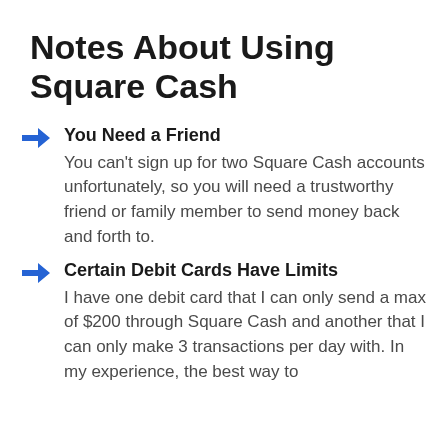Notes About Using Square Cash
You Need a Friend
You can't sign up for two Square Cash accounts unfortunately, so you will need a trustworthy friend or family member to send money back and forth to.
Certain Debit Cards Have Limits
I have one debit card that I can only send a max of $200 through Square Cash and another that I can only make 3 transactions per day with. In my experience, the best way to